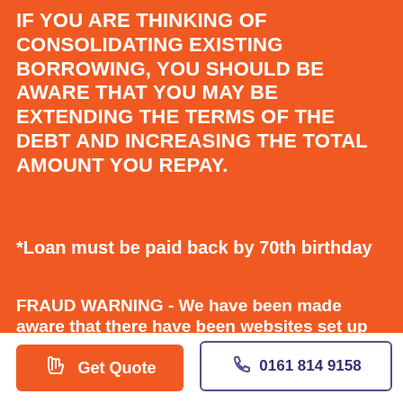IF YOU ARE THINKING OF CONSOLIDATING EXISTING BORROWING, YOU SHOULD BE AWARE THAT YOU MAY BE EXTENDING THE TERMS OF THE DEBT AND INCREASING THE TOTAL AMOUNT YOU REPAY.
*Loan must be paid back by 70th birthday
FRAUD WARNING - We have been made aware that there have been websites set up using our details to attempt to scam people for money. Evolution Money Limited will never ask
Get Quote
0161 814 9158